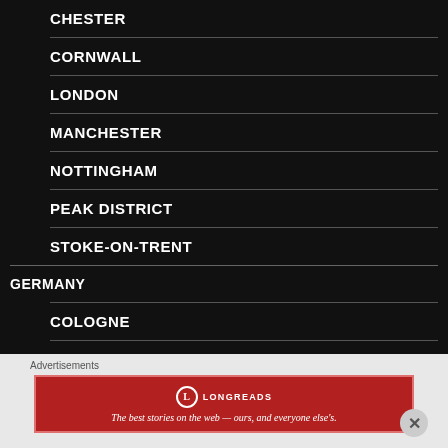CHESTER
CORNWALL
LONDON
MANCHESTER
NOTTINGHAM
PEAK DISTRICT
STOKE-ON-TRENT
GERMANY
COLOGNE
DUSSELDORF
Advertisements
[Figure (other): Longreads advertisement banner: The best stories on the web — ours, and everyone else's.]